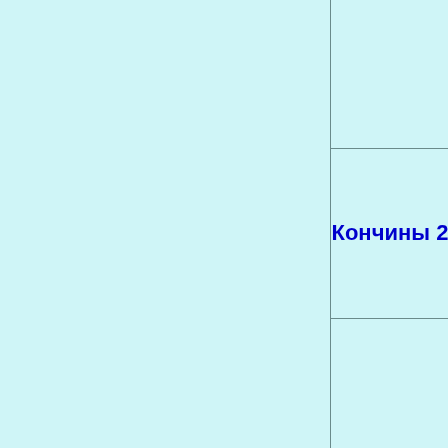††
|  | Кончины 2012 |  |
|  | Кончины 2011 |  |
|  | Кончины 2010 |  |